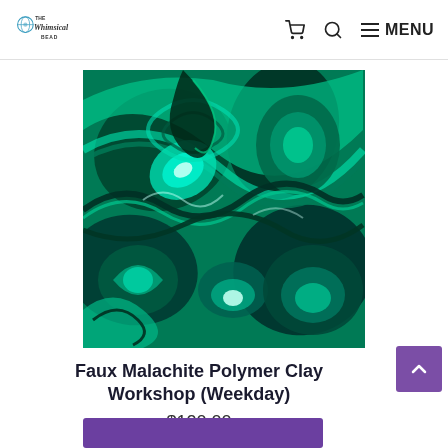The Whimsical Bead — navigation with cart, search, and menu icons
[Figure (photo): Close-up photograph of swirling green malachite stone patterns with teal and dark green colors, used as product image for a polymer clay workshop]
Faux Malachite Polymer Clay Workshop (Weekday)
$120.00